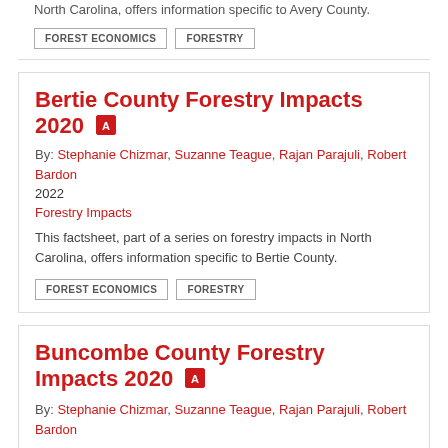North Carolina, offers information specific to Avery County.
FOREST ECONOMICS
FORESTRY
Bertie County Forestry Impacts 2020
By: Stephanie Chizmar, Suzanne Teague, Rajan Parajuli, Robert Bardon
2022
Forestry Impacts
This factsheet, part of a series on forestry impacts in North Carolina, offers information specific to Bertie County.
FOREST ECONOMICS
FORESTRY
Buncombe County Forestry Impacts 2020
By: Stephanie Chizmar, Suzanne Teague, Rajan Parajuli, Robert Bardon